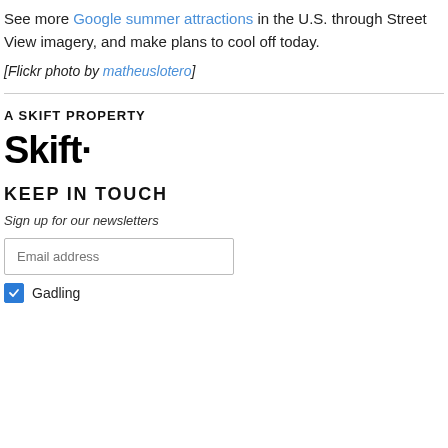See more Google summer attractions in the U.S. through Street View imagery, and make plans to cool off today.
[Flickr photo by matheuslotero]
A SKIFT PROPERTY
[Figure (logo): Skift logo in bold black text]
KEEP IN TOUCH
Sign up for our newsletters
Email address
Gadling (checked checkbox)